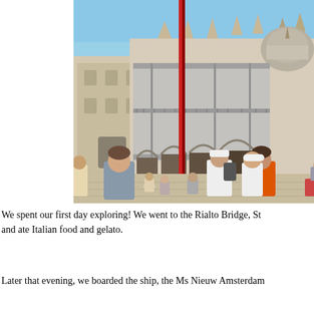[Figure (photo): Outdoor photo of St. Mark's Basilica in Venice, Italy with crowds of tourists in the foreground walking across St. Mark's Square. The basilica shows ornate architecture with arches, domes, and decorative details. Part of the facade is covered with renovation scaffolding. A tall red and white flagpole is visible in the center. Blue sky in background.]
We spent our first day exploring! We went to the Rialto Bridge, St and ate Italian food and gelato.
Later that evening, we boarded the ship, the Ms Nieuw Amsterdam